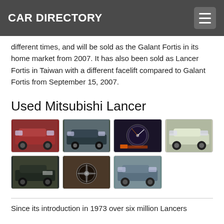CAR DIRECTORY
different times, and will be sold as the Galant Fortis in its home market from 2007. It has also been sold as Lancer Fortis in Taiwan with a different facelift compared to Galant Fortis from September 15, 2007.
Used Mitsubishi Lancer
[Figure (photo): Grid of 7 used Mitsubishi Lancer car photos arranged in two rows]
Since its introduction in 1973 over six million Lancers